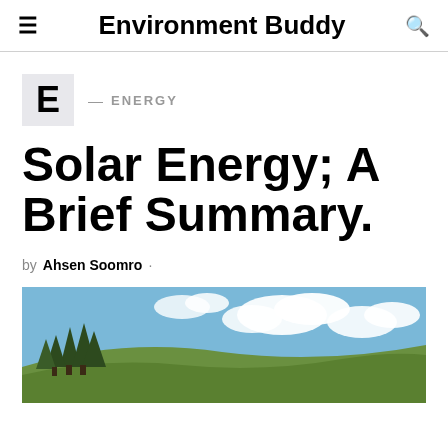Environment Buddy
E — ENERGY
Solar Energy; A Brief Summary.
by Ahsen Soomro ·
[Figure (photo): Outdoor landscape photo showing green hills, tall evergreen trees in the foreground, and a blue sky with white clouds.]